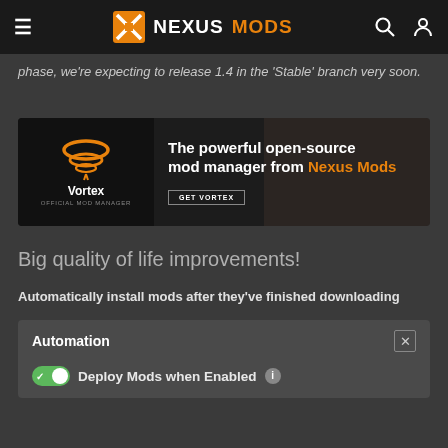NEXUSMODS
phase, we're expecting to release 1.4 in the 'Stable' branch very soon.
[Figure (infographic): Vortex mod manager advertisement banner: shows Vortex logo (tornado icon) on left, text 'The powerful open-source mod manager from Nexus Mods' on right with a 'GET VORTEX' button. Dark background.]
Big quality of life improvements!
Automatically install mods after they've finished downloading
Automation — with close button X
Deploy Mods when Enabled (info icon)